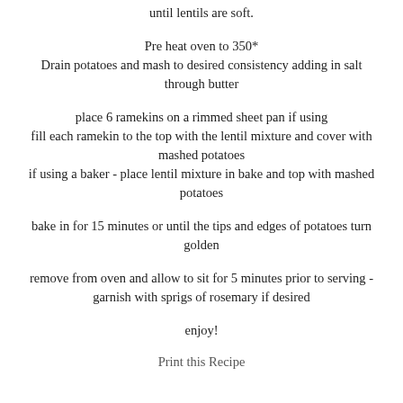until lentils are soft.
Pre heat oven to 350*
Drain potatoes and mash to desired consistency adding in salt through butter
place 6 ramekins on a rimmed sheet pan if using
fill each ramekin to the top with the lentil mixture and cover with mashed potatoes
if using a baker - place lentil mixture in bake and top with mashed potatoes
bake in for 15 minutes or until the tips and edges of potatoes turn golden
remove from oven and allow to sit for 5 minutes prior to serving - garnish with sprigs of rosemary if desired
enjoy!
Print this Recipe